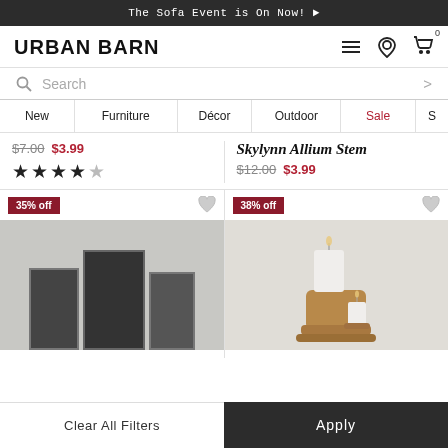The Sofa Event is On Now! ▶
URBAN BARN
Search
New  Furniture  Décor  Outdoor  Sale  S
$7.00  $3.99  ★★★★☆
Skylynn Allium Stem  $12.00  $3.99
35% off
38% off
Clear All Filters
Apply